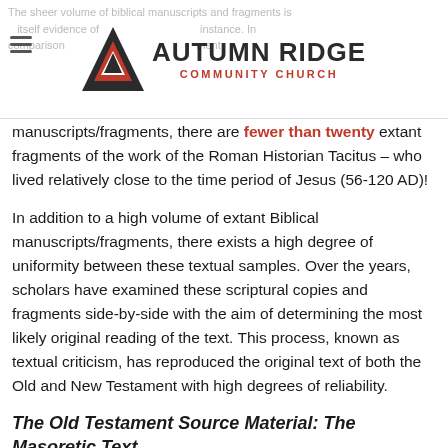Autumn Ridge Community Church
manuscripts/fragments, there are fewer than twenty extant fragments of the work of the Roman Historian Tacitus – who lived relatively close to the time period of Jesus (56-120 AD)!
In addition to a high volume of extant Biblical manuscripts/fragments, there exists a high degree of uniformity between these textual samples. Over the years, scholars have examined these scriptural copies and fragments side-by-side with the aim of determining the most likely original reading of the text. This process, known as textual criticism, has reproduced the original text of both the Old and New Testament with high degrees of reliability.
The Old Testament Source Material: The Masoretic Text